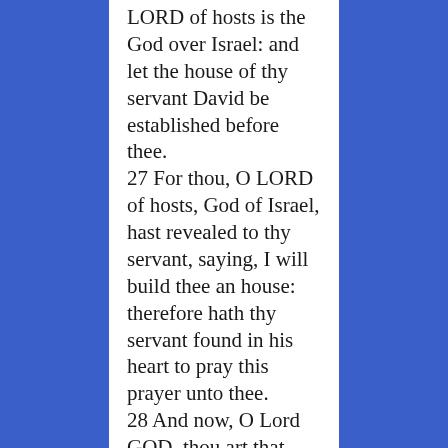LORD of hosts is the God over Israel: and let the house of thy servant David be established before thee. 27 For thou, O LORD of hosts, God of Israel, hast revealed to thy servant, saying, I will build thee an house: therefore hath thy servant found in his heart to pray this prayer unto thee. 28 And now, O Lord GOD, thou art that God, and thy words be true, and thou hast promised this goodness unto thy servant: 29 Therefore